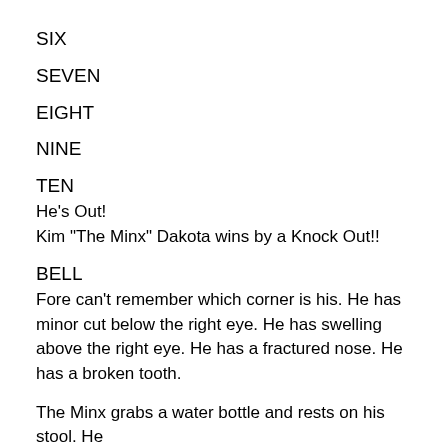SIX
SEVEN
EIGHT
NINE
TEN
He's Out!
Kim "The Minx" Dakota wins by a Knock Out!!
BELL
Fore can't remember which corner is his. He has minor cut below the right eye. He has swelling above the right eye. He has a fractured nose. He has a broken tooth.
The Minx grabs a water bottle and rests on his stool. He